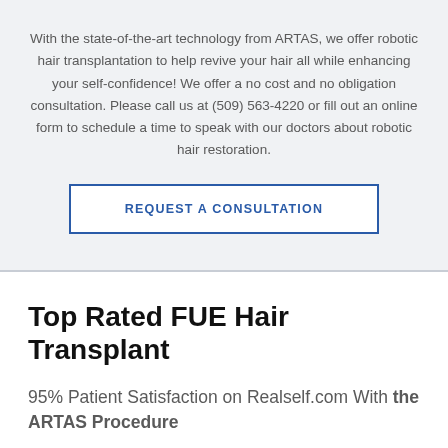With the state-of-the-art technology from ARTAS, we offer robotic hair transplantation to help revive your hair all while enhancing your self-confidence! We offer a no cost and no obligation consultation. Please call us at (509) 563-4220 or fill out an online form to schedule a time to speak with our doctors about robotic hair restoration.
REQUEST A CONSULTATION
Top Rated FUE Hair Transplant
95% Patient Satisfaction on Realself.com With the ARTAS Procedure